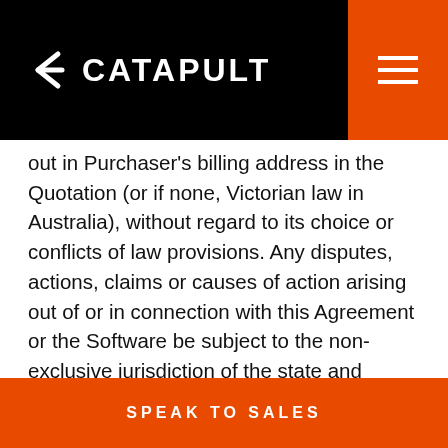CATAPULT
out in Purchaser's billing address in the Quotation (or if none, Victorian law in Australia), without regard to its choice or conflicts of law provisions. Any disputes, actions, claims or causes of action arising out of or in connection with this Agreement or the Software be subject to the non-exclusive jurisdiction of the state and federal courts located in in Victoria, Australia. 17.10. Entire Agreement: This Agreement (including the Quotation and any other Order Schedules) comprises the entire agreement between Catapult and you and supersedes all prior or contemporaneous negotiations, discussions or agreements, whether written or oral,
SPEAK TO SALES